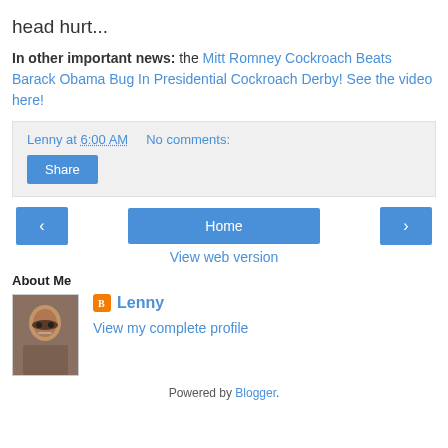head hurt...
In other important news: the Mitt Romney Cockroach Beats Barack Obama Bug In Presidential Cockroach Derby! See the video here!
Lenny at 6:00 AM   No comments:
Share
‹   Home   ›
View web version
About Me
Lenny
View my complete profile
Powered by Blogger.